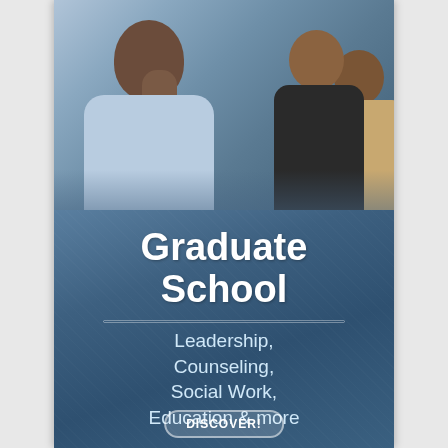[Figure (photo): Three adults seated in what appears to be a classroom or lecture setting. In the foreground, a Black man in a light blue dress shirt rests his chin on his hand thoughtfully. Behind him to the right, two Black women are visible, one wearing glasses and a dark top, the other in a beige/tan top.]
Graduate School
Leadership, Counseling, Social Work, Education & more
DISCOVER!